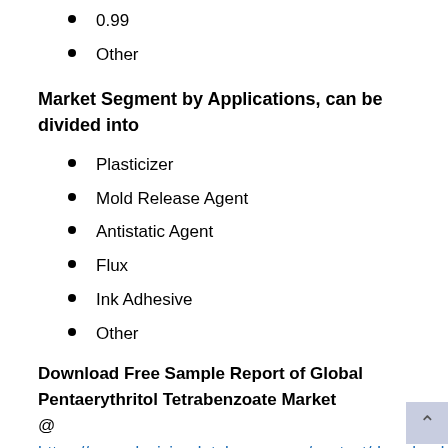0.99
Other
Market Segment by Applications, can be divided into
Plasticizer
Mold Release Agent
Antistatic Agent
Flux
Ink Adhesive
Other
Download Free Sample Report of Global Pentaerythritol Tetrabenzoate Market @ https://www.decisiondatabases.com/contact/download-sample-40000
The content of the study subjects, includes